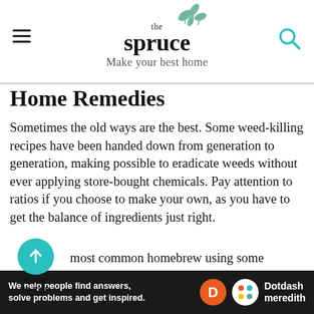the spruce — Make your best home
Home Remedies
Sometimes the old ways are the best. Some weed-killing recipes have been handed down from generation to generation, making possible to eradicate weeds without ever applying store-bought chemicals. Pay attention to ratios if you choose to make your own, as you have to get the balance of ingredients just right.
most common homebrew using some bination of vinegar (1 gallon), salt (1 cup), or soap (1 tablespoon). There are numerous
[Figure (logo): Back to Top button: teal circle with upward arrow, labeled BACK TO TOP]
[Figure (infographic): Dotdash Meredith ad banner: dark background, text 'We help people find answers, solve problems and get inspired.' with Dotdash Meredith logo]